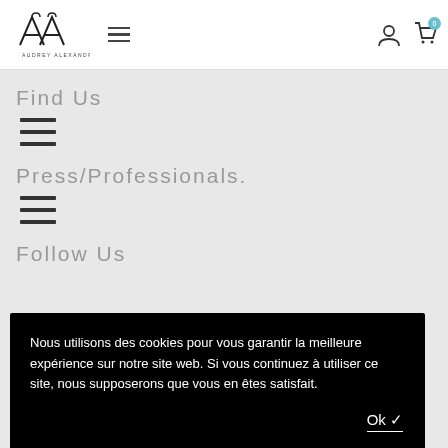[Figure (logo): Audrey Alexandre brand logo with stylized AA monogram and brand name below]
Find Us
[Figure (other): Hamburger menu icon (three horizontal lines)]
Press/Professionals.
[Figure (other): Hamburger menu icon (three horizontal lines)]
Follow Us
Nous utilisons des cookies pour vous garantir la meilleure expérience sur notre site web. Si vous continuez à utiliser ce site, nous supposerons que vous en êtes satisfait.
Ok ✓